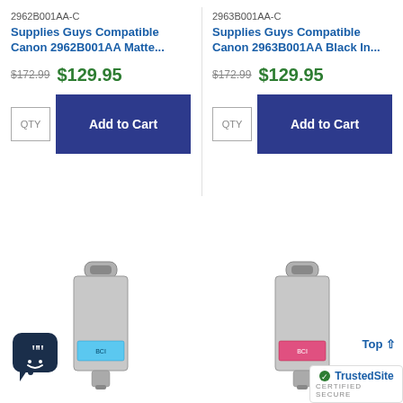2962B001AA-C
Supplies Guys Compatible Canon 2962B001AA Matte...
$172.99
$129.95
2963B001AA-C
Supplies Guys Compatible Canon 2963B001AA Black In...
$172.99
$129.95
[Figure (screenshot): Two Canon-compatible ink cartridge product listings with QTY input boxes and Add to Cart buttons, plus two ink cartridge product images below, a chat icon, a Top arrow, and a TrustedSite certified badge.]